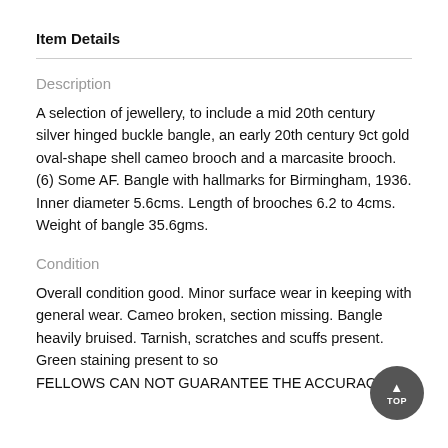Item Details
Description
A selection of jewellery, to include a mid 20th century silver hinged buckle bangle, an early 20th century 9ct gold oval-shape shell cameo brooch and a marcasite brooch. (6) Some AF. Bangle with hallmarks for Birmingham, 1936. Inner diameter 5.6cms. Length of brooches 6.2 to 4cms. Weight of bangle 35.6gms.
Condition
Overall condition good. Minor surface wear in keeping with general wear. Cameo broken, section missing. Bangle heavily bruised. Tarnish, scratches and scuffs present. Green staining present to so FELLOWS CAN NOT GUARANTEE THE ACCURACY